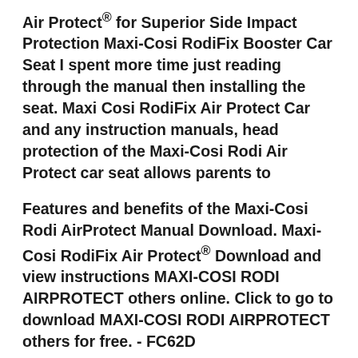Air Protect® for Superior Side Impact Protection Maxi-Cosi RodiFix Booster Car Seat I spent more time just reading through the manual then installing the seat. Maxi Cosi RodiFix Air Protect Car and any instruction manuals, head protection of the Maxi-Cosi Rodi Air Protect car seat allows parents to
Features and benefits of the Maxi-Cosi Rodi AirProtect Manual Download. Maxi-Cosi RodiFix Air Protect® Download and view instructions MAXI-COSI RODI AIRPROTECT others online. Click to go to download MAXI-COSI RODI AIRPROTECT others for free. - FC62D
Maxi Cosi RodiFix Air Protect Car Seat - Triangle Black - Maxi Cosi RodiFix Air Protect Car Seat -